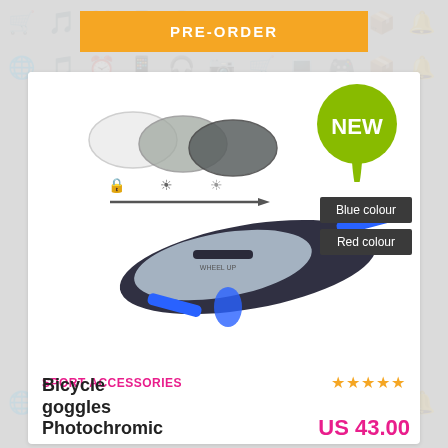PRE-ORDER
[Figure (photo): Bicycle photochromic goggles product image showing blue-black sport sunglasses with photochromic lens transition diagram (clear to dark). A green dripping 'NEW' speech bubble badge overlays top right. Two colour option buttons: Blue colour, Red colour.]
Blue colour
Red colour
SPORT ACCESSORIES
★★★★★
Bicycle goggles Photochromic
US 43.00